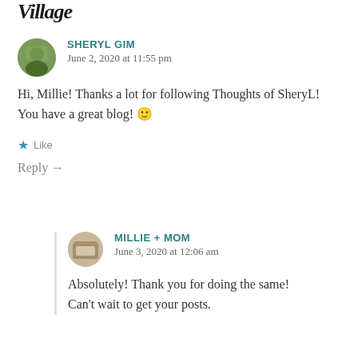Village
SHERYL GIM
June 2, 2020 at 11:55 pm

Hi, Millie! Thanks a lot for following Thoughts of SheryL!
You have a great blog! 🙂
Like
Reply →
MILLIE + MOM
June 3, 2020 at 12:06 am

Absolutely! Thank you for doing the same!
Can't wait to get your posts.